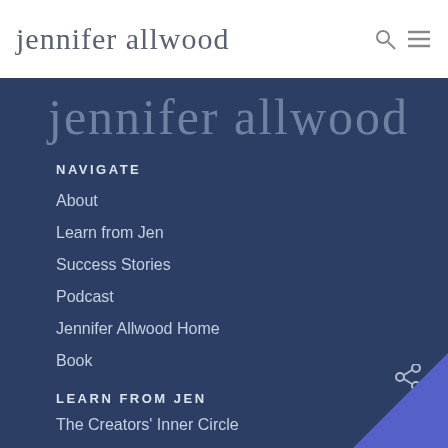jennifer allwood
[Figure (logo): jennifer allwood script logo in dark navy panel]
NAVIGATE
About
Learn from Jen
Success Stories
Podcast
Jennifer Allwood Home
Book
LEARN FROM JEN
The Creators' Inner Circle